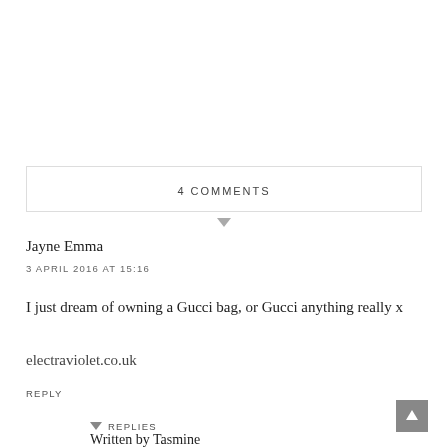4 COMMENTS
Jayne Emma
3 APRIL 2016 AT 15:16
I just dream of owning a Gucci bag, or Gucci anything really x
electraviolet.co.uk
REPLY
▾ REPLIES
Written by Tasmine